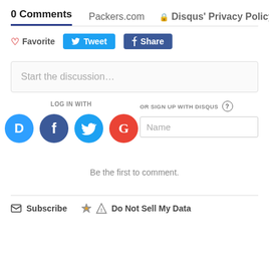0 Comments  Packers.com  Disqus' Privacy Policy
Favorite  Tweet  Share
Start the discussion…
LOG IN WITH
OR SIGN UP WITH DISQUS ?
Name
Be the first to comment.
Subscribe  Do Not Sell My Data